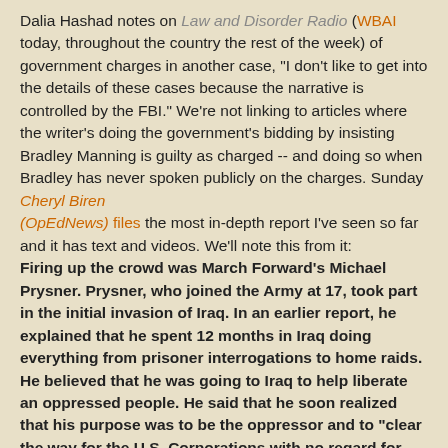Dalia Hashad notes on Law and Disorder Radio (WBAI today, throughout the country the rest of the week) of government charges in another case, "I don't like to get into the details of these cases because the narrative is controlled by the FBI." We're not linking to articles where the writer's doing the government's bidding by insisting Bradley Manning is guilty as charged -- and doing so when Bradley has never spoken publicly on the charges. Sunday Cheryl Biren (OpEdNews) files the most in-depth report I've seen so far and it has text and videos. We'll note this from it: Firing up the crowd was March Forward's Michael Prysner. Prysner, who joined the Army at 17, took part in the initial invasion of Iraq. In an earlier report, he explained that he spent 12 months in Iraq doing everything from prisoner interrogations to home raids. He believed that he was going to Iraq to help liberate an oppressed people. He said that he soon realized that his purpose was to be the oppressor and to "clear the way for the U.S. Corporations with no regard for human life." Now the national director of MarchForward.org, Prysner told OpEdNews, "The message is that it is crystal clear that this government is not going to end these wars, the